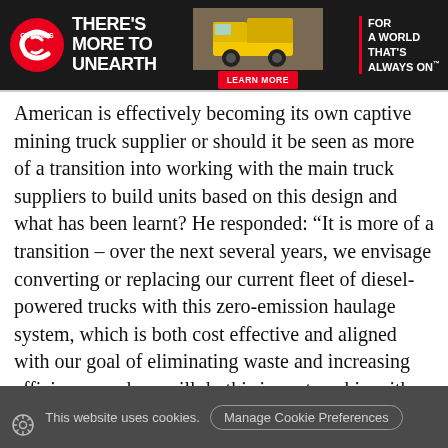[Figure (advertisement): Cummins banner advertisement with logo, tagline 'THERE'S MORE TO UNEARTH', mining truck image, red 'LEARN MORE' button, and slogan 'FOR A WORLD THAT'S ALWAYS ON']
American is effectively becoming its own captive mining truck supplier or should it be seen as more of a transition into working with the main truck suppliers to build units based on this design and what has been learnt? He responded: “It is more of a transition – over the next several years, we envisage converting or replacing our current fleet of diesel-powered trucks with this zero-emission haulage system, which is both cost effective and aligned with our goal of eliminating waste and increasing efficiency, and we will do this in partnership with others, as we have done for the prototype.” He confirmed that the plan is by 2030 to continue the deployment of the nuGen™ ZEHS project at seven of its
This website uses cookies.   Manage Cookie Preferences